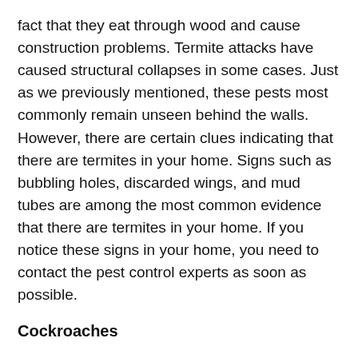fact that they eat through wood and cause construction problems. Termite attacks have caused structural collapses in some cases. Just as we previously mentioned, these pests most commonly remain unseen behind the walls. However, there are certain clues indicating that there are termites in your home. Signs such as bubbling holes, discarded wings, and mud tubes are among the most common evidence that there are termites in your home. If you notice these signs in your home, you need to contact the pest control experts as soon as possible.
Cockroaches
Whoever finds cockroaches in their home has a huge reason to be worried. There are many reasons why